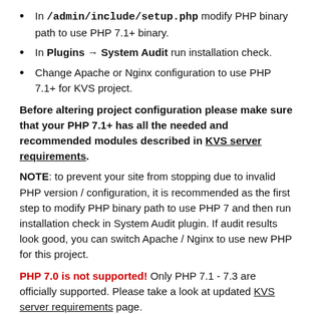In /admin/include/setup.php modify PHP binary path to use PHP 7.1+ binary.
In Plugins → System Audit run installation check.
Change Apache or Nginx configuration to use PHP 7.1+ for KVS project.
Before altering project configuration please make sure that your PHP 7.1+ has all the needed and recommended modules described in KVS server requirements.
NOTE: to prevent your site from stopping due to invalid PHP version / configuration, it is recommended as the first step to modify PHP binary path to use PHP 7 and then run installation check in System Audit plugin. If audit results look good, you can switch Apache / Nginx to use new PHP for this project.
PHP 7.0 is not supported! Only PHP 7.1 - 7.3 are officially supported. Please take a look at updated KVS server requirements page.
5.1.1 update procedure